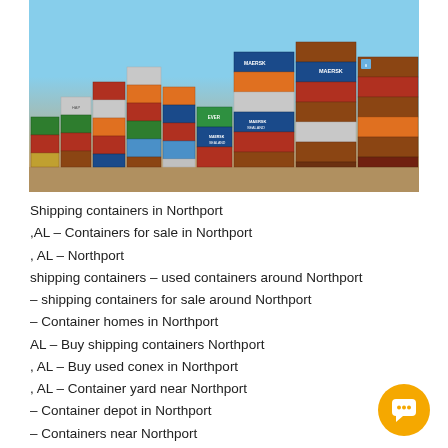[Figure (photo): Stacked shipping containers at a container yard, featuring Maersk and Maersk Sealand branded containers in various colors (blue, red, orange, white, green, brown). Sky is light blue in background.]
Shipping containers in Northport
,AL – Containers for sale in Northport
, AL – Northport
shipping containers – used containers around Northport
– shipping containers for sale around Northport
– Container homes in Northport
AL – Buy shipping containers Northport
, AL – Buy used conex in Northport
, AL – Container yard near Northport
– Container depot in Northport
– Containers near Northport